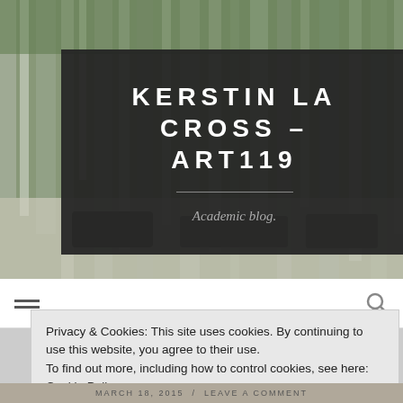[Figure (photo): Background painting/artwork photo showing trees and landscape, muted green and grey tones, textile-like texture]
KERSTIN LA CROSS – ART119
Academic blog.
Privacy & Cookies: This site uses cookies. By continuing to use this website, you agree to their use.
To find out more, including how to control cookies, see here: Cookie Policy
Close and accept
MARCH 18, 2015  /  LEAVE A COMMENT